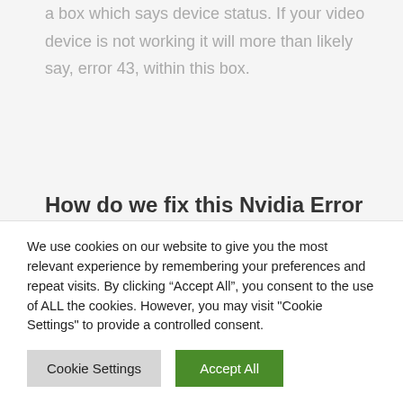details of the device and on the first page there will be a box which says device status. If your video device is not working it will more than likely say, error 43, within this box.
How do we fix this Nvidia Error 43?
Well, the first thing that you need to do is download
We use cookies on our website to give you the most relevant experience by remembering your preferences and repeat visits. By clicking “Accept All”, you consent to the use of ALL the cookies. However, you may visit "Cookie Settings" to provide a controlled consent.